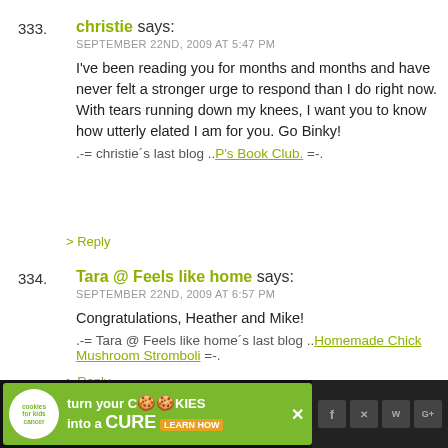333. christie says:
SEPTEMBER 22ND, 2009 AT 5:47 PM
I've been reading you for months and months and have never felt a stronger urge to respond than I do right now. With tears running down my knees, I want you to know how utterly elated I am for you. Go Binky!
.-= christie's last blog ..P's Book Club. =-.
> Reply
334. Tara @ Feels like home says:
SEPTEMBER 22ND, 2009 AT 6:57 PM
Congratulations, Heather and Mike!
.-= Tara @ Feels like home's last blog ..Homemade Chick Mushroom Stromboli =-.
> Reply
335. Emese says:
[Figure (infographic): Advertisement banner for cookies for kids cancer — turn your cookies into a CURE LEARN HOW]